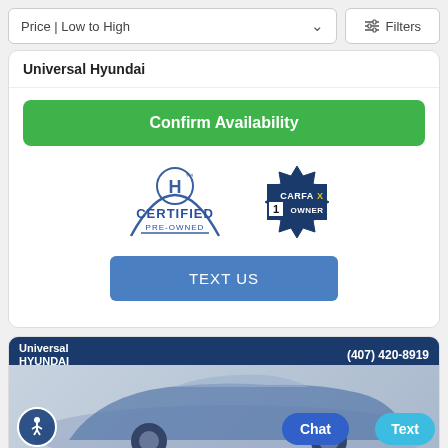Price | Low to High
Filters
Universal Hyundai
Confirm Availability
[Figure (logo): Hyundai Certified Pre-Owned logo with blue H emblem and arc]
[Figure (logo): CARFAX 1 Owner badge logo]
TEXT US
[Figure (photo): Blue Hyundai car with Universal Hyundai dealer banner showing phone number (407) 420-8919, accessibility icon, Chat and Text buttons]